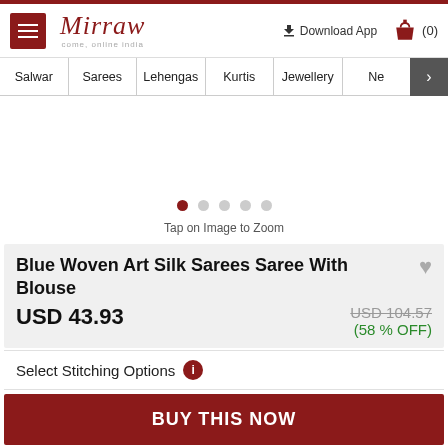Mirraw — come, online india
Salwar | Sarees | Lehengas | Kurtis | Jewellery | Ne >
[Figure (other): Product image area with carousel dots and zoom instruction]
Tap on Image to Zoom
Blue Woven Art Silk Sarees Saree With Blouse
USD 43.93
USD 104.57 (58 % OFF)
Select Stitching Options
BUY THIS NOW